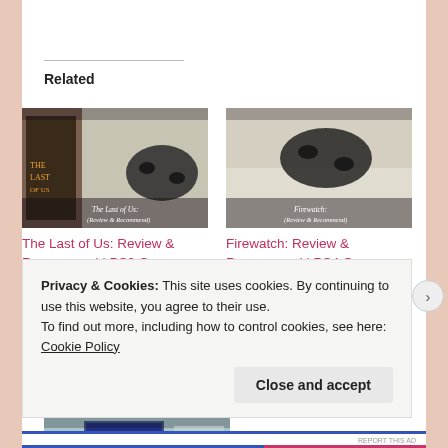Related
[Figure (photo): Photo of The Last of Us PS3 game case and a PlayStation controller on a bed]
The Last of Us: Review & Recommend | PS3 Games
Jun 15, 2020
In "Culture"
[Figure (photo): Photo of Firewatch PS4 game and a PlayStation controller on a bed]
Firewatch: Review & Recommend | PS4 Games
Aug 17, 2020
In "Culture"
[Figure (photo): Partially visible third related article image showing a PS4 game case]
Privacy & Cookies: This site uses cookies. By continuing to use this website, you agree to their use.
To find out more, including how to control cookies, see here: Cookie Policy
Close and accept